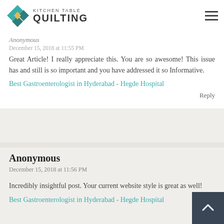KITCHEN TABLE QUILTING
Anonymous
December 15, 2018 at 11:55 PM
Great Article! I really appreciate this. You are so awesome! This issue has and still is so important and you have addressed it so Informative.
Best Gastroenterologist in Hyderabad - Hegde Hospital
Reply
Anonymous
December 15, 2018 at 11:56 PM
Incredibly insightful post. Your current website style is great as well!
Best Gastroenterologist in Hyderabad - Hegde Hospital